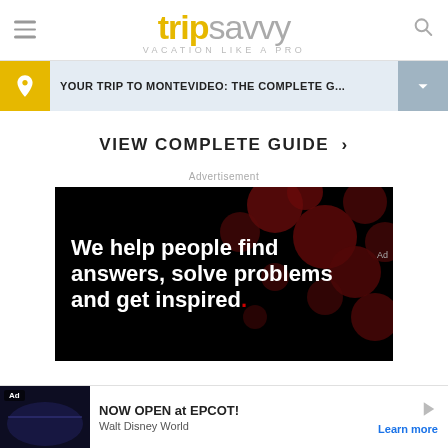[Figure (logo): TripSavvy logo with tagline VACATION LIKE A PRO]
YOUR TRIP TO MONTEVIDEO: THE COMPLETE G...
VIEW COMPLETE GUIDE ›
Advertisement
[Figure (screenshot): Advertisement image with text: We help people find answers, solve problems and get inspired. Dark background with red circles pattern.]
[Figure (screenshot): Bottom banner ad: NOW OPEN at EPCOT! Walt Disney World. Learn more.]